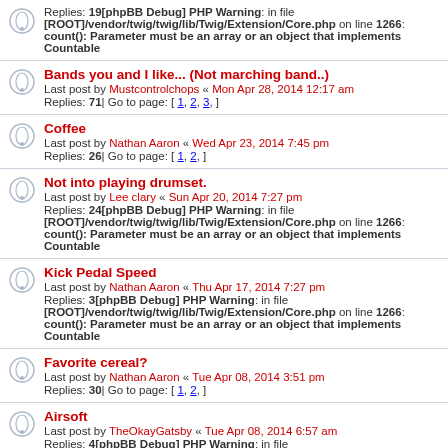Replies: 19[phpBB Debug] PHP Warning: in file [ROOT]/vendor/twig/twig/lib/Twig/Extension/Core.php on line 1266: count(): Parameter must be an array or an object that implements Countable
Bands you and I like... (Not marching band..) Last post by Mustcontrolchops « Mon Apr 28, 2014 12:17 am Replies: 71 | Go to page: [ 1, 2, 3, ]
Coffee Last post by Nathan Aaron « Wed Apr 23, 2014 7:45 pm Replies: 26 | Go to page: [ 1, 2, ]
Not into playing drumset. Last post by Lee clary « Sun Apr 20, 2014 7:27 pm Replies: 24[phpBB Debug] PHP Warning: in file [ROOT]/vendor/twig/twig/lib/Twig/Extension/Core.php on line 1266: count(): Parameter must be an array or an object that implements Countable
Kick Pedal Speed Last post by Nathan Aaron « Thu Apr 17, 2014 7:27 pm Replies: 3[phpBB Debug] PHP Warning: in file [ROOT]/vendor/twig/twig/lib/Twig/Extension/Core.php on line 1266: count(): Parameter must be an array or an object that implements Countable
Favorite cereal? Last post by Nathan Aaron « Tue Apr 08, 2014 3:51 pm Replies: 30 | Go to page: [ 1, 2, ]
Airsoft Last post by TheOkayGatsby « Tue Apr 08, 2014 6:57 am Replies: 4[phpBB Debug] PHP Warning: in file [ROOT]/vendor/twig/twig/lib/Twig/Extension/Core.php on line 1266: count(): Parameter must be an array or an object that implements Countable